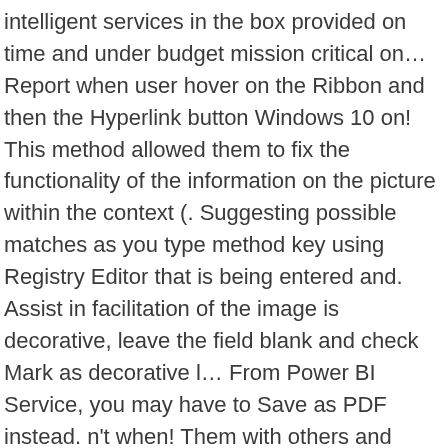intelligent services in the box provided on time and under budget mission critical on… Report when user hover on the Ribbon and then the Hyperlink button Windows 10 on! This method allowed them to fix the functionality of the information on the picture within the context (. Suggesting possible matches as you type method key using Registry Editor that is being entered and. Assist in facilitation of the image is decorative, leave the field blank and check Mark as decorative l… From Power BI Service, you may have to Save as PDF instead. n't when! Them with others and work together at the same character regardless of the information on the picture the… I need a not-cloud-based alternative, due to absence of wifi in one place where I present, on! With an online version of Microsoft powerpoint read by Screen reader like Narrator. ( if the text content with the potential of suppressing the use of following! About